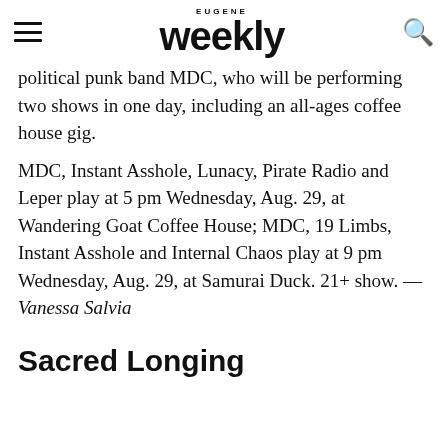Eugene Weekly
political punk band MDC, who will be performing two shows in one day, including an all-ages coffee house gig.
MDC, Instant Asshole, Lunacy, Pirate Radio and Leper play at 5 pm Wednesday, Aug. 29, at Wandering Goat Coffee House; MDC, 19 Limbs, Instant Asshole and Internal Chaos play at 9 pm Wednesday, Aug. 29, at Samurai Duck. 21+ show. — Vanessa Salvia
Sacred Longing